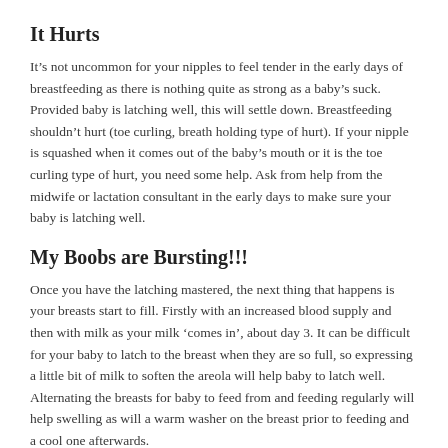It Hurts
It’s not uncommon for your nipples to feel tender in the early days of breastfeeding as there is nothing quite as strong as a baby’s suck. Provided baby is latching well, this will settle down. Breastfeeding shouldn’t hurt (toe curling, breath holding type of hurt). If your nipple is squashed when it comes out of the baby’s mouth or it is the toe curling type of hurt, you need some help. Ask from help from the midwife or lactation consultant in the early days to make sure your baby is latching well.
My Boobs are Bursting!!!
Once you have the latching mastered, the next thing that happens is your breasts start to fill. Firstly with an increased blood supply and then with milk as your milk ‘comes in’, about day 3. It can be difficult for your baby to latch to the breast when they are so full, so expressing a little bit of milk to soften the areola will help baby to latch well. Alternating the breasts for baby to feed from and feeding regularly will help swelling as will a warm washer on the breast prior to feeding and a cool one afterwards.